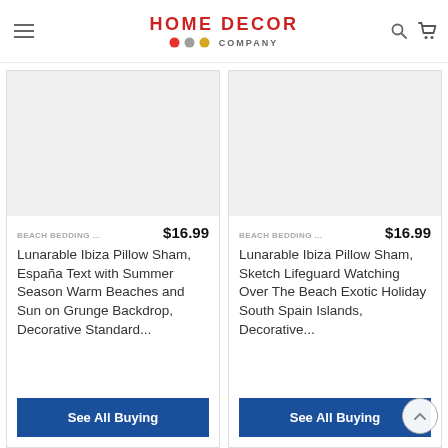HOME DECOR COMPANY
[Figure (photo): Product image placeholder – light gray rectangle for left pillow sham product]
BEACH BEDDING ... $16.99
Lunarable Ibiza Pillow Sham, España Text with Summer Season Warm Beaches and Sun on Grunge Backdrop, Decorative Standard...
See All Buying
[Figure (photo): Product image placeholder – light gray rectangle for right pillow sham product]
BEACH BEDDING ... $16.99
Lunarable Ibiza Pillow Sham, Sketch Lifeguard Watching Over The Beach Exotic Holiday South Spain Islands, Decorative...
See All Buying